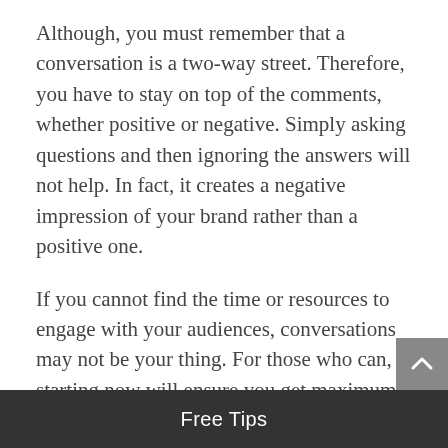Although, you must remember that a conversation is a two-way street. Therefore, you have to stay on top of the comments, whether positive or negative. Simply asking questions and then ignoring the answers will not help. In fact, it creates a negative impression of your brand rather than a positive one.
If you cannot find the time or resources to engage with your audiences, conversations may not be your thing. For those who can, starting now will ensure you get maximum results when the time comes to launch your 2021 holiday marketing campaigns.
Incorporate Loyalty Programs
If you have any experience as a marketer, you know
Free Tips